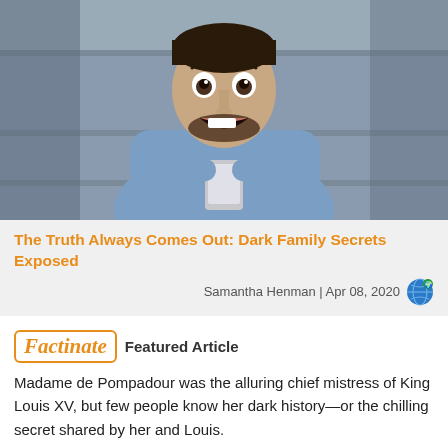[Figure (photo): Man with shocked/surprised expression holding a smartphone, sitting on steps, wearing a blue shirt]
The Truth Always Comes Out: Dark Family Secrets Exposed
Samantha Henman | Apr 08, 2020
Factinate Featured Article
Madame de Pompadour was the alluring chief mistress of King Louis XV, but few people know her dark history—or the chilling secret shared by her and Louis.
[Figure (photo): Partial view of a woman with dark hair and floral headpiece at the bottom of the page]